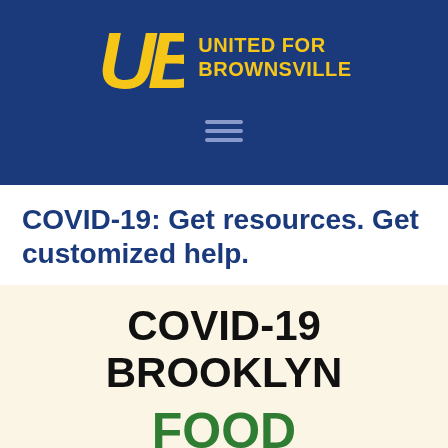UB UNITED FOR BROWNSVILLE
COVID-19: Get resources. Get customized help.
[Figure (infographic): Cream-background panel showing text: COVID-19 BROOKLYN in black bold, followed by FOOD in green bold and HEALTH in blue bold, all uppercase large type]